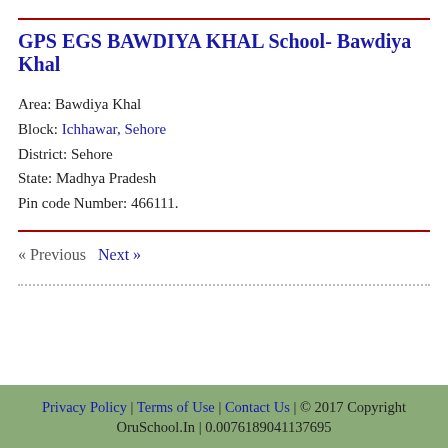GPS EGS BAWDIYA KHAL School- Bawdiya Khal
Area: Bawdiya Khal
Block: Ichhawar, Sehore
District: Sehore
State: Madhya Pradesh
Pin code Number: 466111.
« Previous   Next »
Privacy Policy | Terms of Use | Contact Us | © 2017 Copyright OruSchool.In | 0.0076189041137695